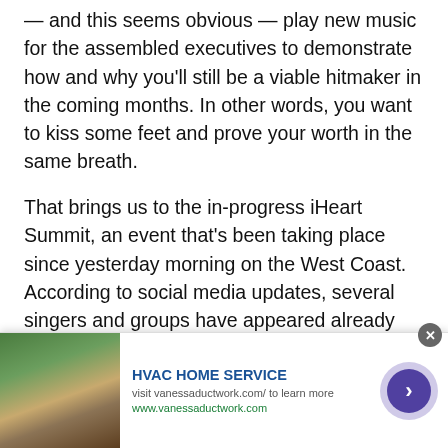— and this seems obvious — play new music for the assembled executives to demonstrate how and why you'll still be a viable hitmaker in the coming months. In other words, you want to kiss some feet and prove your worth in the same breath.

That brings us to the in-progress iHeart Summit, an event that's been taking place since yesterday morning on the West Coast. According to social media updates, several singers and groups have appeared already (each major label and imprint gets about half an hour of stage time) including Iggy Azalea (who debuted her upcoming comeback single, "Team"), Fifth Harmony (ostensibly
[Figure (other): Advertisement banner for HVAC Home Service showing a garden/planting image on the left, ad text in the middle with title 'HVAC HOME SERVICE', body text 'visit vanessaductwork.com/ to learn more', URL 'www.vanessaductwork.com', a close button (x), and a purple arrow button on the right.]